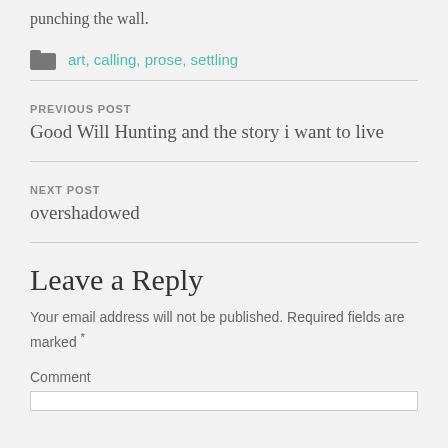punching the wall.
art, calling, prose, settling
PREVIOUS POST
Good Will Hunting and the story i want to live
NEXT POST
overshadowed
Leave a Reply
Your email address will not be published. Required fields are marked *
Comment